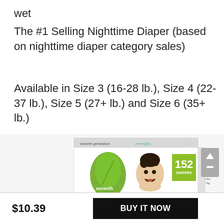wet
The #1 Selling Nighttime Diaper (based on nighttime diaper category sales)
Available in Size 3 (16-28 lb.), Size 4 (22-37 lb.), Size 5 (27+ lb.) and Size 6 (35+ lb.)
[Figure (photo): Seventh Generation nighttime diapers product box, Size 4, 152 diapers, with baby photo and green leaf logo]
$10.39  BUY IT NOW